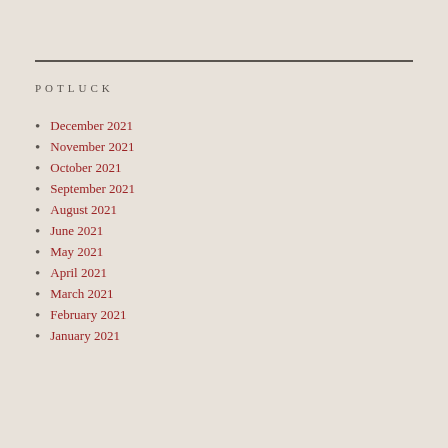POTLUCK
December 2021
November 2021
October 2021
September 2021
August 2021
June 2021
May 2021
April 2021
March 2021
February 2021
January 2021